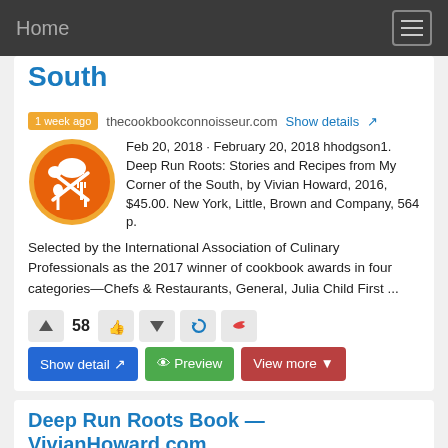Home
South
1 week ago  thecookbookconnoisseur.com  Show details
Feb 20, 2018 · February 20, 2018 hhodgson1. Deep Run Roots: Stories and Recipes from My Corner of the South, by Vivian Howard, 2016, $45.00. New York, Little, Brown and Company, 564 p. Selected by the International Association of Culinary Professionals as the 2017 winner of cookbook awards in four categories—Chefs & Restaurants, General, Julia Child First ...
Deep Run Roots Book — VivianHoward.com